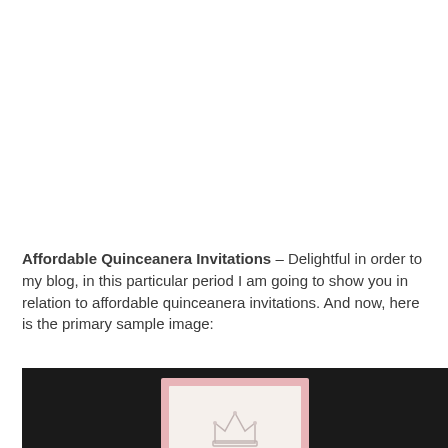Affordable Quinceanera Invitations – Delightful in order to my blog, in this particular period I am going to show you in relation to affordable quinceanera invitations. And now, here is the primary sample image:
[Figure (photo): A quinceanera invitation card with a pink background and decorative white inner panel featuring a crown illustration, displayed against a dark/black background]